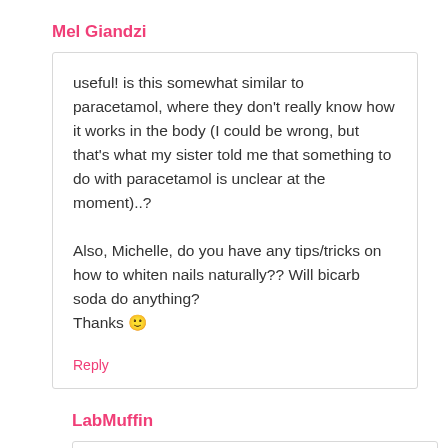Mel Giandzi
useful! is this somewhat similar to paracetamol, where they don't really know how it works in the body (I could be wrong, but that's what my sister told me that something to do with paracetamol is unclear at the moment)..?

Also, Michelle, do you have any tips/tricks on how to whiten nails naturally?? Will bicarb soda do anything?
Thanks 🙂
Reply
LabMuffin
Well, how paracetamol works isn't completely known either, but they're very different in what they do and how